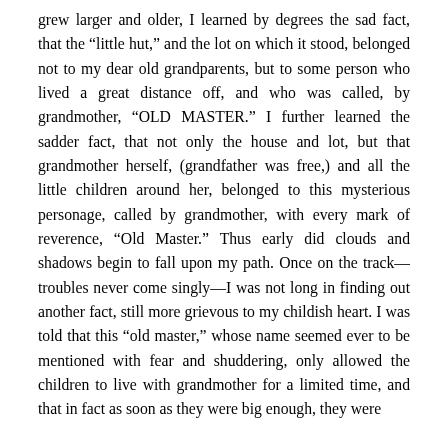grew larger and older, I learned by degrees the sad fact, that the “little hut,” and the lot on which it stood, belonged not to my dear old grandparents, but to some person who lived a great distance off, and who was called, by grandmother, “OLD MASTER.” I further learned the sadder fact, that not only the house and lot, but that grandmother herself, (grandfather was free,) and all the little children around her, belonged to this mysterious personage, called by grandmother, with every mark of reverence, “Old Master.” Thus early did clouds and shadows begin to fall upon my path. Once on the track—troubles never come singly—I was not long in finding out another fact, still more grievous to my childish heart. I was told that this “old master,” whose name seemed ever to be mentioned with fear and shuddering, only allowed the children to live with grandmother for a limited time, and that in fact as soon as they were big enough, they were